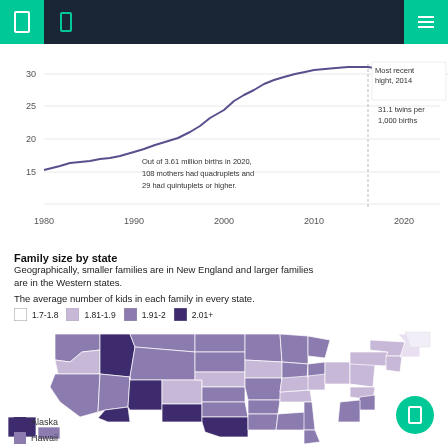navigation header
[Figure (line-chart): Line chart showing twins per 1,000 births from 1980 to 2020, rising from about 19 to a peak of 31.1 in 2014, with annotation: Most recent hight, 2014 — 31.1 twins per 1,000 births; Out of 3.61 million births in 2020, 108 mothers had quadruplets and 29 had quintuplets or higher.]
Family size by state
Geographically, smaller families are in New England and larger families are in the Western states.
The average number of kids in each family in every state.
[Figure (map): Choropleth map of the US showing average number of kids per family by state. Legend: 1.7-1.8 (white), 1.81-1.9 (light purple), 1.91-2 (medium purple), 2.01+ (dark purple). Western states like Utah and Idaho are darkest. New England states are lightest. Alaska and Hawaii shown as inset boxes at bottom left.]
Alaska
Hawaii